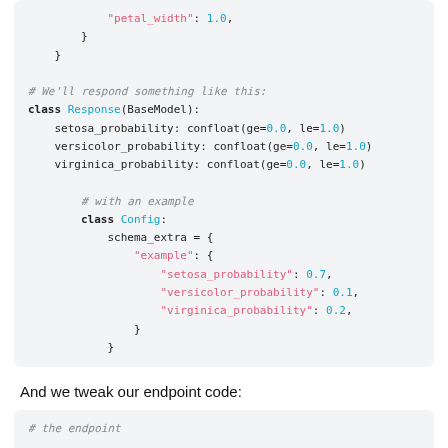[Figure (screenshot): Code block showing Python class definitions with highlighted syntax. Shows closing braces for a previous dict, a comment '# We'll respond something like this:', class Response(BaseModel) with confloat fields, a nested class Config with schema_extra example dict containing setosa_probability: 0.7, versicolor_probability: 0.1, virginica_probability: 0.2.]
And we tweak our endpoint code:
[Figure (screenshot): Code block showing partial comment '# the endpoint' in italic gray style.]